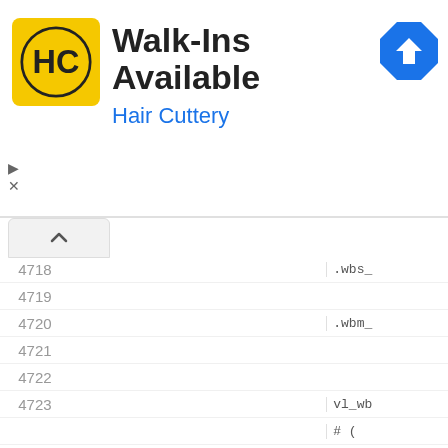[Figure (screenshot): Hair Cuttery advertisement banner with yellow logo, 'Walk-Ins Available' heading, 'Hair Cuttery' subtitle in blue, and a blue navigation arrow icon on the right]
| Line | Code |
| --- | --- |
| 4718 | .wbs_ |
| 4719 |  |
| 4720 | .wbm_ |
| 4721 |  |
| 4722 |  |
| 4723 | vl_wb |
| 4723 | # ( |
| 4724 | .wbs_ |
| 4724 | .aw_ |
| 4725 | cache |
| 4726 | .wbs_ |
| 4727 | .wbs_ |
| 4728 | .wbm_ |